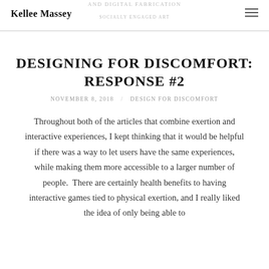Kellee Massey | AND DIGITAL FABRICATION | SOCIALLY ENGAGED ART
DESIGNING FOR DISCOMFORT: RESPONSE #2
NOVEMBER 8, 2018  /  DESIGN FOR DISCOMFORT
Throughout both of the articles that combine exertion and interactive experiences, I kept thinking that it would be helpful if there was a way to let users have the same experiences, while making them more accessible to a larger number of people.  There are certainly health benefits to having interactive games tied to physical exertion, and I really liked the idea of only being able to